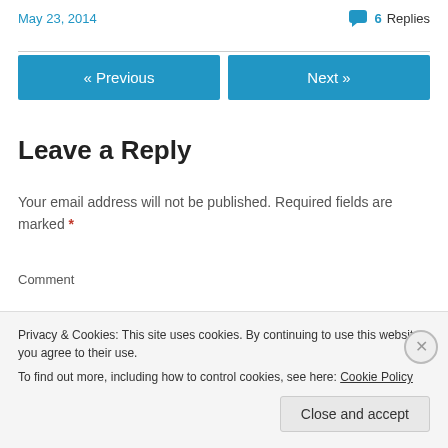May 23, 2014
6 Replies
« Previous
Next »
Leave a Reply
Your email address will not be published. Required fields are marked *
Comment
Privacy & Cookies: This site uses cookies. By continuing to use this website, you agree to their use.
To find out more, including how to control cookies, see here: Cookie Policy
Close and accept